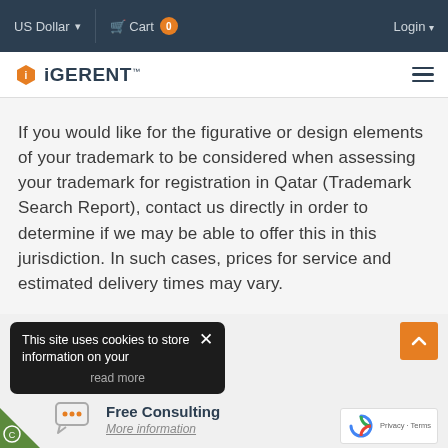US Dollar  Cart 0  Login
[Figure (logo): iGERENT logo with orange hexagon icon and text]
If you would like for the figurative or design elements of your trademark to be considered when assessing your trademark for registration in Qatar (Trademark Search Report), contact us directly in order to determine if we may be able to offer this in this jurisdiction. In such cases, prices for service and estimated delivery times may vary.
This site uses cookies to store information on your read more
Free Consulting
More information